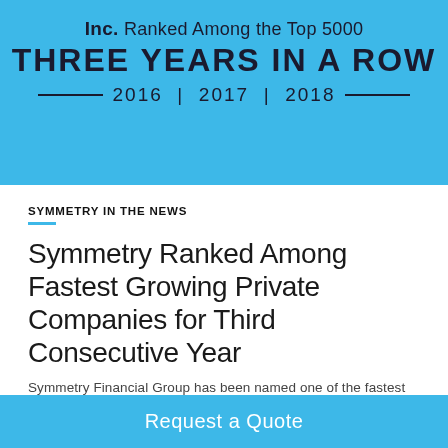[Figure (infographic): Blue banner with Inc. Top 5000 ranking badge. Text reads: Inc. Ranked Among the Top 5000 THREE YEARS IN A ROW 2016 | 2017 | 2018]
SYMMETRY IN THE NEWS
Symmetry Ranked Among Fastest Growing Private Companies for Third Consecutive Year
Symmetry Financial Group has been named one of the fastest growing private companies
Request a Quote